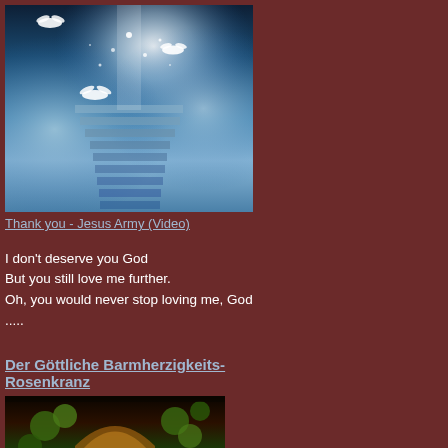[Figure (illustration): Heavenly staircase with doves and light rays, blue and white tones, mystical clouds]
Thank you - Jesus Army (Video)
I don't deserve you God
But you still love me further.
Oh, you would never stop loving me, God .....
Der Göttliche Barmherzigkeits-Rosenkranz
[Figure (photo): Stained glass window with arch and floral motifs in green, brown, and gold tones]